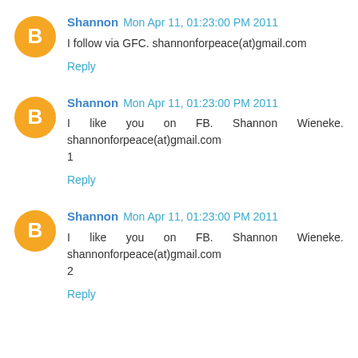Shannon Mon Apr 11, 01:23:00 PM 2011
I follow via GFC. shannonforpeace(at)gmail.com
Reply
Shannon Mon Apr 11, 01:23:00 PM 2011
I like you on FB. Shannon Wieneke. shannonforpeace(at)gmail.com
1
Reply
Shannon Mon Apr 11, 01:23:00 PM 2011
I like you on FB. Shannon Wieneke. shannonforpeace(at)gmail.com
2
Reply